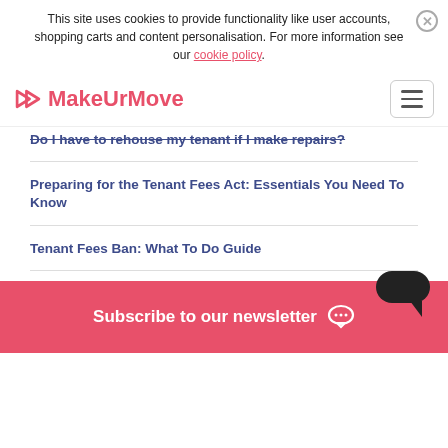This site uses cookies to provide functionality like user accounts, shopping carts and content personalisation. For more information see our cookie policy.
[Figure (logo): MakeUrMove logo with a pink arrow icon and the text MakeUrMove in pink]
Do I have to rehouse my tenant if I make repairs?
Preparing for the Tenant Fees Act: Essentials You Need To Know
Tenant Fees Ban: What To Do Guide
Subscribe to our newsletter